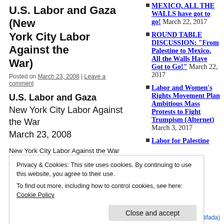U.S. Labor and Gaza (New York City Labor Against the War)
Posted on March 23, 2008 | Leave a comment
U.S. Labor and Gaza
New York City Labor Against the War
March 23, 2008
New York City Labor Against the War joins the Congress of South Africa Trade Unions in denouncing Israel's recent massacres in Gaza, the victims of which include at least 128...
MEXICO, ALL THE WALLS have got to go! March 22, 2017
ROUND TABLE DISCUSSION: "From Palestine to Mexico, All the Walls Have Got to Go!" March 22, 2017
Labor and Women's Rights Movement Plan Ambitious Mass Protests to Fight Trumpism (Alternet) March 3, 2017
Labor for Palestine
Privacy & Cookies: This site uses cookies. By continuing to use this website, you agree to their use.
To find out more, including how to control cookies, see here: Cookie Policy
Close and accept
WHO ARE THE TERRORISTS?
(Electronic Intifada)